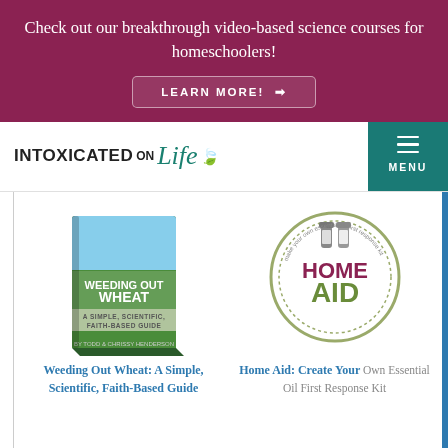Check out our breakthrough video-based science courses for homeschoolers!
LEARN MORE! →
[Figure (logo): Intoxicated on Life logo with stylized script text and leaf icon]
MENU
[Figure (illustration): Book cover: Weeding Out Wheat - A Simple, Scientific, Faith-Based Guide]
[Figure (logo): Home Aid - Make Your Own Essential Oil First Response Kit circular logo]
Weeding Out Wheat: A Simple, Scientific, Faith-Based Guide
Home Aid: Create Your Own Essential Oil First Response Kit